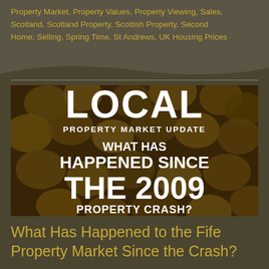Property Market, Property Values, Property Viewing, Sales, Scotland, Scotland Property, Scottish Property, Second Home, Selling, Spring Time, St Andrews, UK Housing Prices
[Figure (photo): Background photo of gold/bronze coins with white bold text overlay reading: LOCAL PROPERTY MARKET UPDATE / WHAT HAS HAPPENED SINCE THE 2009 PROPERTY CRASH?]
What Has Happened to the Fife Property Market Since the Crash?